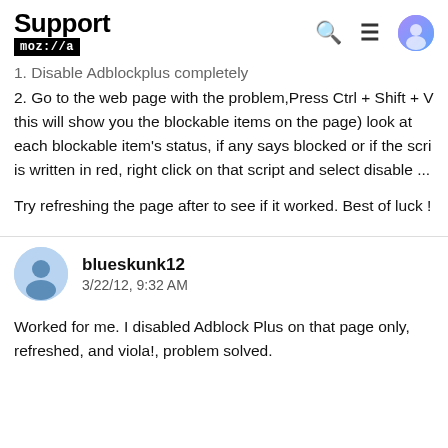Support mozilla//a
1. Disable Adblockplus completely
2. Go to the web page with the problem,Press Ctrl + Shift + V this will show you the blockable items on the page) look at each blockable item's status, if any says blocked or if the scri is written in red, right click on that script and select disable ...
Try refreshing the page after to see if it worked. Best of luck !
blueskunk12
3/22/12, 9:32 AM
Worked for me. I disabled Adblock Plus on that page only, refreshed, and viola!, problem solved.